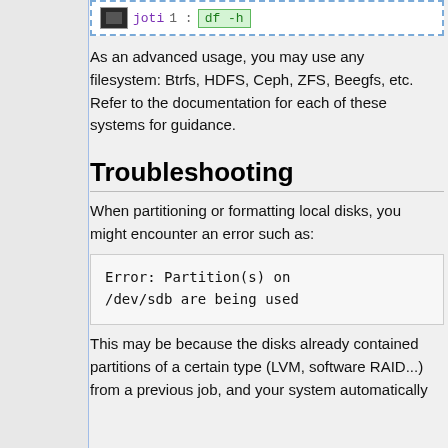[Figure (screenshot): Terminal command block showing 'joti' prompt with '1 :' and 'df -h' command in green box, dashed blue border]
As an advanced usage, you may use any filesystem: Btrfs, HDFS, Ceph, ZFS, Beegfs, etc. Refer to the documentation for each of these systems for guidance.
Troubleshooting
When partitioning or formatting local disks, you might encounter an error such as:
[Figure (screenshot): Code block showing: Error: Partition(s) on /dev/sdb are being used]
This may be because the disks already contained partitions of a certain type (LVM, software RAID...) from a previous job, and your system automatically